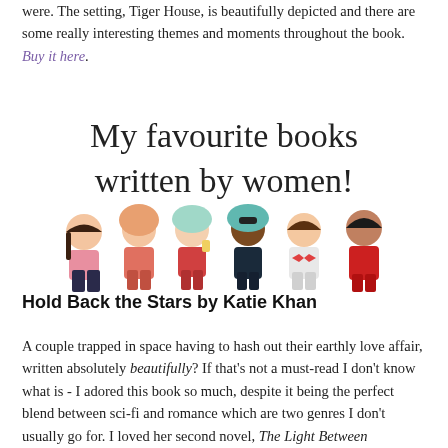were. The setting, Tiger House, is beautifully depicted and there are some really interesting themes and moments throughout the book. Buy it here.
[Figure (illustration): Decorative banner image with handwritten-style script text reading 'My favourite books written by women!' above an illustration of six diverse women standing together in colorful clothing.]
Hold Back the Stars by Katie Khan
A couple trapped in space having to hash out their earthly love affair, written absolutely beautifully? If that's not a must-read I don't know what is - I adored this book so much, despite it being the perfect blend between sci-fi and romance which are two genres I don't usually go for. I loved her second novel, The Light Between